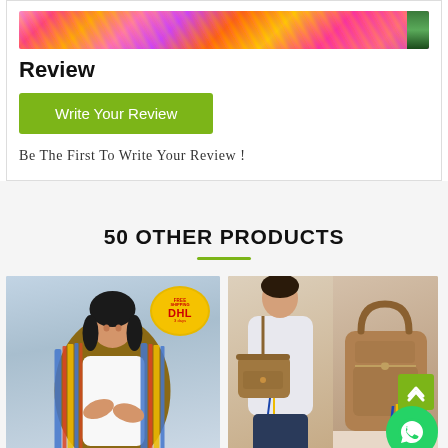[Figure (photo): Floral/colorful textile product image strip at top with a dark green element on the right edge]
Review
Write Your Review
Be The First To Write Your Review !
50 OTHER PRODUCTS
[Figure (photo): Woman wearing a striped colorful shawl over a white shirt, smiling, with a DHL free shipping badge overlay]
[Figure (photo): Brown leather handbag shown from two angles, with scroll-up and WhatsApp buttons overlaid]